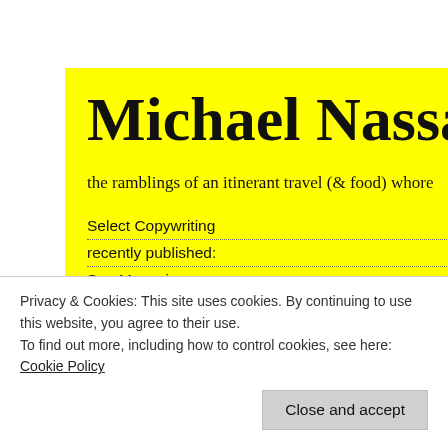Michael Nassar
the ramblings of an itinerant travel (& food) whore
Select Copywriting
recently published:
Spa Magazine
AsiaSpa
NY Daily News
Hemispheres
Notify n
Notify n
Post Comn
10 YEARS A
adventure
antrim / b
mccool / g
banks / lun
Privacy & Cookies: This site uses cookies. By continuing to use this website, you agree to their use.
To find out more, including how to control cookies, see here: Cookie Policy
Close and accept